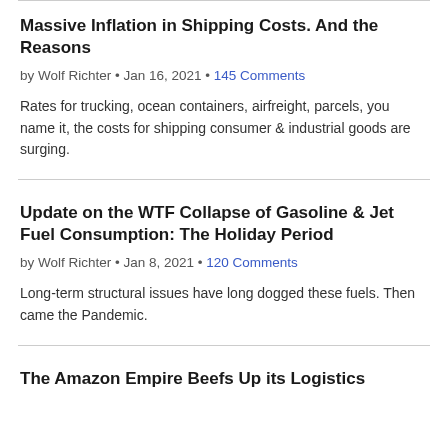Massive Inflation in Shipping Costs. And the Reasons
by Wolf Richter • Jan 16, 2021 • 145 Comments
Rates for trucking, ocean containers, airfreight, parcels, you name it, the costs for shipping consumer & industrial goods are surging.
Update on the WTF Collapse of Gasoline & Jet Fuel Consumption: The Holiday Period
by Wolf Richter • Jan 8, 2021 • 120 Comments
Long-term structural issues have long dogged these fuels. Then came the Pandemic.
The Amazon Empire Beefs Up its Logistics